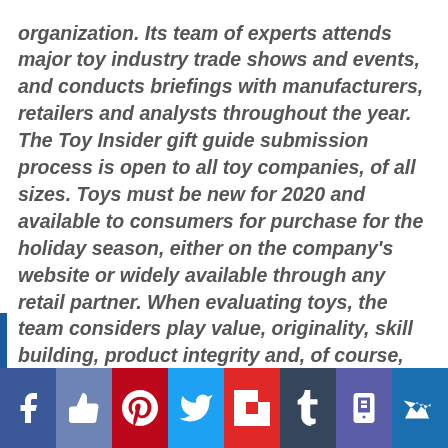organization. Its team of experts attends major toy industry trade shows and events, and conducts briefings with manufacturers, retailers and analysts throughout the year. The Toy Insider gift guide submission process is open to all toy companies, of all sizes. Toys must be new for 2020 and available to consumers for purchase for the holiday season, either on the company's website or widely available through any retail partner. When evaluating toys, the team considers play value, originality, skill building, product integrity and, of course, fun factor.